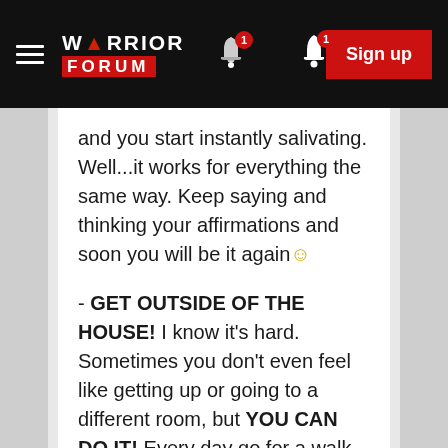WARRIOR FORUM - Sign up
and you start instantly salivating. Well...it works for everything the same way. Keep saying and thinking your affirmations and soon you will be it again☺
- GET OUTSIDE OF THE HOUSE! I know it's hard. Sometimes you don't even feel like getting up or going to a different room, but YOU CAN DO IT! Every day go for a walk- by yourself or with your girlfriend or with a